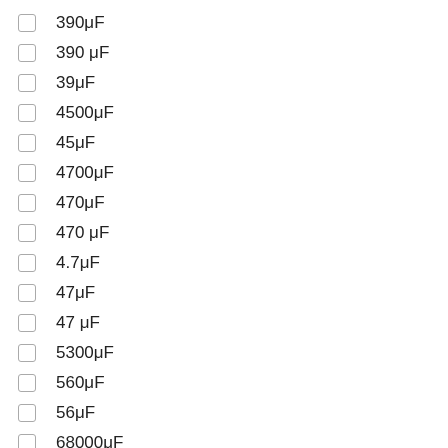390μF
390 μF
39μF
4500μF
45μF
4700μF
470μF
470 μF
4.7μF
47μF
47 μF
5300μF
560μF
56μF
68000μF